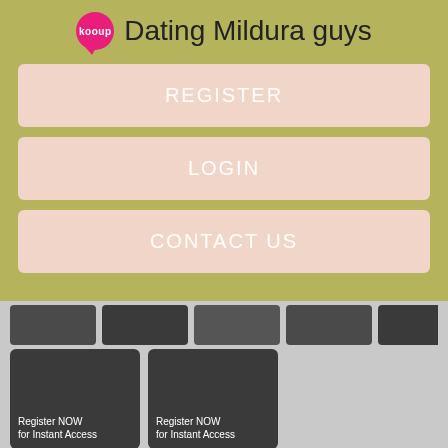Dating Mildura guys
REGISTER
LOGIN
CONTACT US
[Figure (screenshot): Grid of thumbnail images showing dating/registration previews]
You'll be able to RSVP, add events to your calendar and share with friends. The Defence Special Needs Support Group is a non-profit benevolent volunteer organisation established to assist